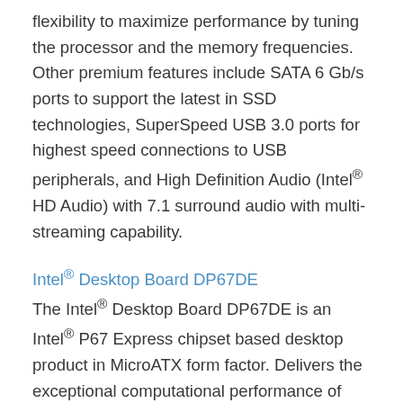flexibility to maximize performance by tuning the processor and the memory frequencies. Other premium features include SATA 6 Gb/s ports to support the latest in SSD technologies, SuperSpeed USB 3.0 ports for highest speed connections to USB peripherals, and High Definition Audio (Intel® HD Audio) with 7.1 surround audio with multi-streaming capability.
Intel® Desktop Board DP67DE
The Intel® Desktop Board DP67DE is an Intel® P67 Express chipset based desktop product in MicroATX form factor. Delivers the exceptional computational performance of 2nd Generation Intel® Core™ family of processors. The DP67DE board features built-in flexibility to maximize performance by tuning the processor and the memory frequencies. Other premium features include SATA 6 Gb/s ports to support the latest in SSD technologies, SuperSpeed USB 3.0 ports for